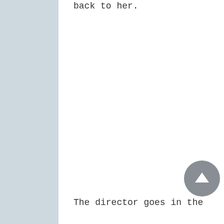back to her.
Let’s start over. The premiere is

in four days. We don’t have time.
The director goes in the